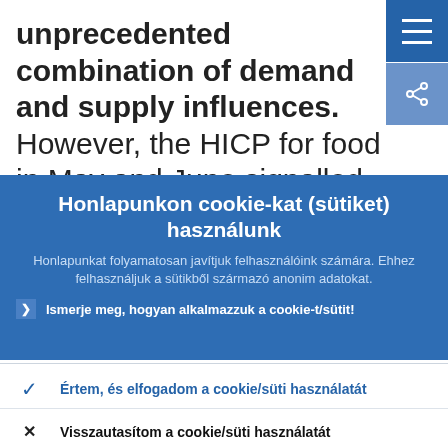unprecedented combination of demand and supply influences. However, the HICP for food in May and June signalled signs of normalisation in price changes as
[Figure (screenshot): Navigation hamburger menu icon button (blue square, top right)]
[Figure (screenshot): Share icon button (blue square, top right below hamburger)]
Honlapunkon cookie-kat (sütiket) használunk
Honlapunkat folyamatosan javítjuk felhasználóink számára. Ehhez felhasználjuk a sütikből származó anonim adatokat.
Ismerje meg, hogyan alkalmazzuk a cookie-t/sütit!
Értem, és elfogadom a cookie/süti használatát
Visszautasítom a cookie/süti használatát